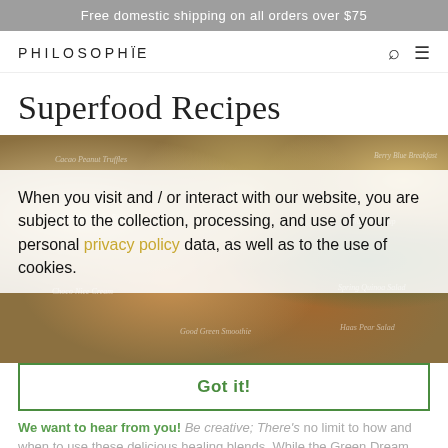Free domestic shipping on all orders over $75
PHILOSOPHIE
Superfood Recipes
[Figure (photo): Food photography showing various superfood bowls, smoothies, and ingredients on a wooden surface with overlaid recipe title labels]
When you visit and / or interact with our website, you are subject to the collection, processing, and use of your personal privacy policy data, as well as to the use of cookies.
Got it!
We want to hear from you! Be creative; There's no limit to how and when to use these delicious healing blends. While the Green Dream smoothie is a morning staple at our